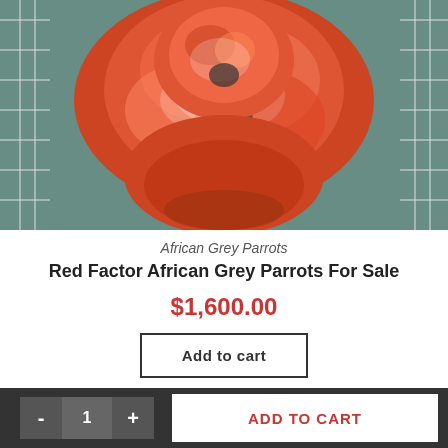[Figure (photo): Close-up photo of a red/orange feathered parrot (Red Factor African Grey) perched inside a wire cage]
African Grey Parrots
Red Factor African Grey Parrots For Sale
$1,600.00
Add to cart
[Figure (photo): Partial photo of another bird visible at the bottom of the page]
- 1 + ADD TO CART